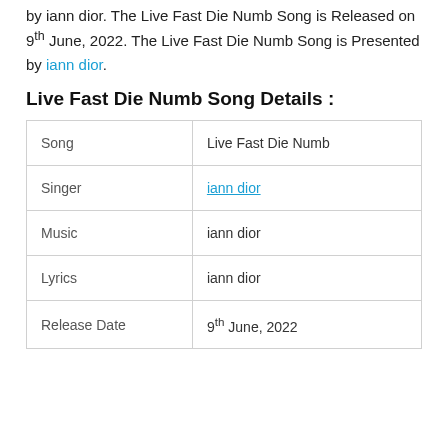by iann dior. The Live Fast Die Numb Song is Released on 9th June, 2022. The Live Fast Die Numb Song is Presented by iann dior.
Live Fast Die Numb Song Details :
| Song | Live Fast Die Numb |
| --- | --- |
| Song | Live Fast Die Numb |
| Singer | iann dior |
| Music | iann dior |
| Lyrics | iann dior |
| Release Date | 9th June, 2022 |